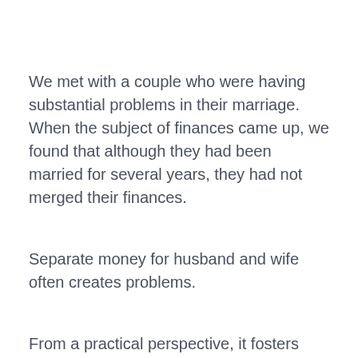We met with a couple who were having substantial problems in their marriage. When the subject of finances came up, we found that although they had been married for several years, they had not merged their finances.
Separate money for husband and wife often creates problems.
From a practical perspective, it fosters conflict when “shared” expenses become a tug-of-war between spouses.